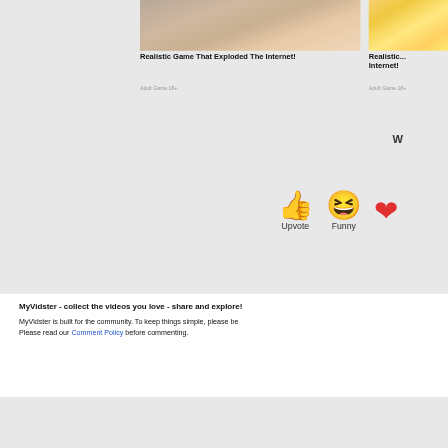[Figure (screenshot): Anime-style game advertisement card showing characters, title 'Realistic Game That Exploded The Internet!' and subtitle 'Adult Game 18+']
[Figure (screenshot): Partial second anime-style game advertisement card showing 'Realistic...' title and 'Adult Game 18+' subtitle, partially cropped on right]
W
[Figure (infographic): Thumbs up emoji (Upvote) and laughing face emoji (Funny) reaction buttons]
Upvote
Funny
MyVidster - collect the videos you love - share and explore!
MyVidster is built for the community. To keep things simple, please be... Please read our Comment Policy before commenting.